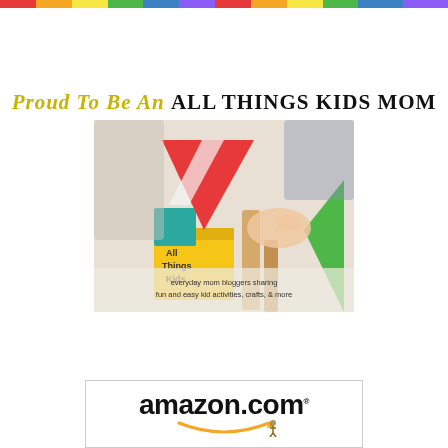Colorful banner bar
Proud to Be An All Things Kids MOM
[Figure (logo): All Things Kids logo: child playing with colorful wooden blocks, with text 'All Things Kids' on yellow cube and tagline 'everyday mom bloggers sharing fun and easy kid activities, crafts, & more']
[Figure (logo): Amazon.com logo with smile arrow underneath]